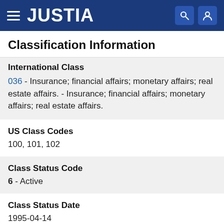JUSTIA
Classification Information
International Class
036 - Insurance; financial affairs; monetary affairs; real estate affairs. - Insurance; financial affairs; monetary affairs; real estate affairs.
US Class Codes
100, 101, 102
Class Status Code
6 - Active
Class Status Date
1995-04-14
Primary Code